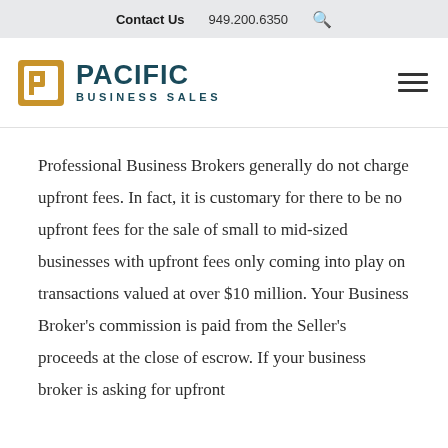Contact Us  949.200.6350
[Figure (logo): Pacific Business Sales logo with golden square bracket icon and teal text reading PACIFIC BUSINESS SALES]
Professional Business Brokers generally do not charge upfront fees. In fact, it is customary for there to be no upfront fees for the sale of small to mid-sized businesses with upfront fees only coming into play on transactions valued at over $10 million. Your Business Broker’s commission is paid from the Seller’s proceeds at the close of escrow. If your business broker is asking for upfront